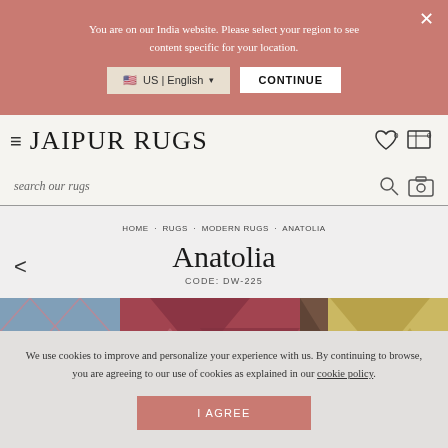You are on our India website. Please select your region to see content specific for your location.
US | English
CONTINUE
JAIPUR RUGS
search our rugs
HOME · RUGS · MODERN RUGS · ANATOLIA
Anatolia
CODE: DW-225
[Figure (photo): Close-up photograph of the Anatolia rug showing geometric diamond/triangle pattern in multiple colors: blue, burgundy/wine, brown, and yellow/gold.]
We use cookies to improve and personalize your experience with us. By continuing to browse, you are agreeing to our use of cookies as explained in our cookie policy.
I AGREE